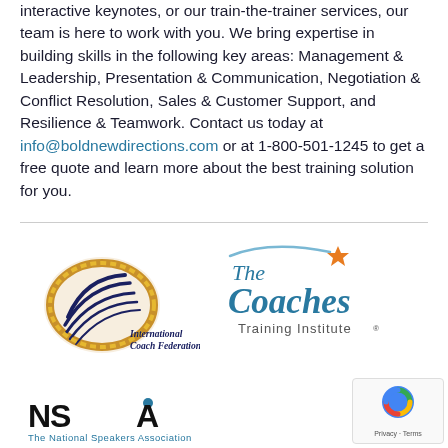interactive keynotes, or our train-the-trainer services, our team is here to work with you. We bring expertise in building skills in the following key areas: Management & Leadership, Presentation & Communication, Negotiation & Conflict Resolution, Sales & Customer Support, and Resilience & Teamwork. Contact us today at info@boldnewdirections.com or at 1-800-501-1245 to get a free quote and learn more about the best training solution for you.
[Figure (logo): International Coach Federation logo — gold oval with lines and ICF lettering]
[Figure (logo): The Coaches Training Institute logo with stylized text and orange star]
[Figure (logo): NSA — The National Speakers Association logo]